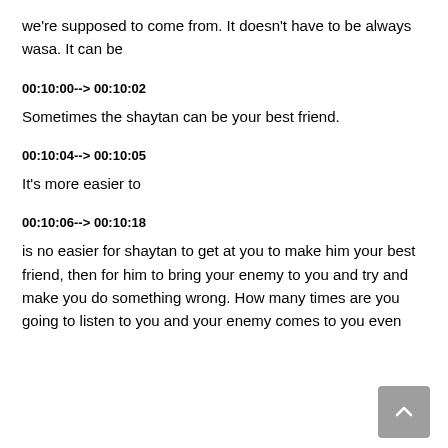we're supposed to come from. It doesn't have to be always wasa. It can be
00:10:00--> 00:10:02
Sometimes the shaytan can be your best friend.
00:10:04--> 00:10:05
It's more easier to
00:10:06--> 00:10:18
is no easier for shaytan to get at you to make him your best friend, then for him to bring your enemy to you and try and make you do something wrong. How many times are you going to listen to you and your enemy comes to you even